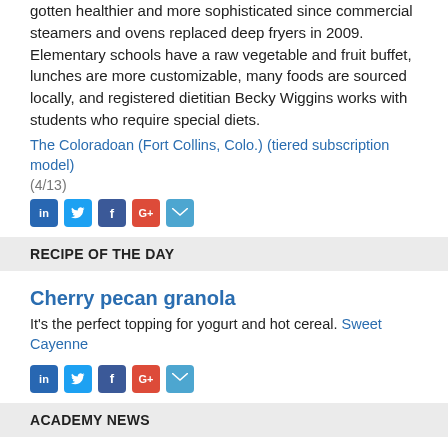gotten healthier and more sophisticated since commercial steamers and ovens replaced deep fryers in 2009. Elementary schools have a raw vegetable and fruit buffet, lunches are more customizable, many foods are sourced locally, and registered dietitian Becky Wiggins works with students who require special diets.
The Coloradoan (Fort Collins, Colo.) (tiered subscription model)
(4/13)
[Figure (infographic): Row of social sharing icons: LinkedIn, Twitter, Facebook, Google+, Email]
RECIPE OF THE DAY
Cherry pecan granola
It's the perfect topping for yogurt and hot cereal. Sweet Cayenne
[Figure (infographic): Row of social sharing icons: LinkedIn, Twitter, Facebook, Google+, Email]
ACADEMY NEWS
Certificate of training: Childhood and Adolescent Weight Management
Registration is open for the Certificate of Training in Childhood